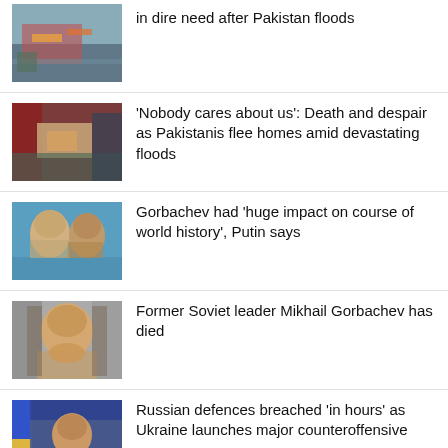[Figure (photo): News thumbnail: people with colorful cloth in flood aftermath, Pakistan]
in dire need after Pakistan floods
[Figure (photo): News thumbnail: person lying on makeshift bed outdoors, Pakistan floods]
‘Nobody cares about us’: Death and despair as Pakistanis flee homes amid devastating floods
[Figure (photo): News thumbnail: Gorbachev and Putin facing each other]
Gorbachev had ‘huge impact on course of world history’, Putin says
[Figure (photo): News thumbnail: Mikhail Gorbachev portrait]
Former Soviet leader Mikhail Gorbachev has died
[Figure (photo): News thumbnail: Zelensky speaking, Ukraine flag visible]
Russian defences breached ‘in hours’ as Ukraine launches major counteroffensive